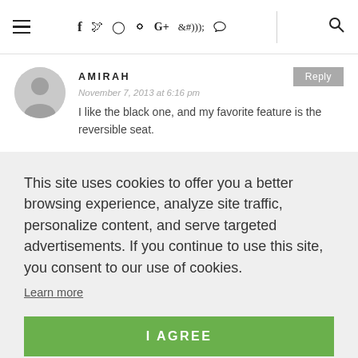≡  f  𝕏  ○  ⊕  G+  ))) | 🔍
AMIRAH
November 7, 2013 at 6:16 pm
I like the black one, and my favorite feature is the reversible seat.
This site uses cookies to offer you a better browsing experience, analyze site traffic, personalize content, and serve targeted advertisements. If you continue to use this site, you consent to our use of cookies.
Learn more
I AGREE
I love that it has 5 seat positions. I want